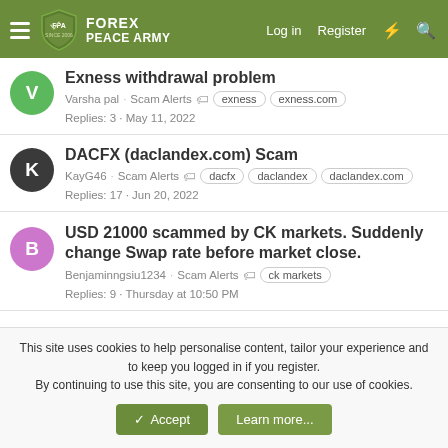FOREX PEACE ARMY — Log in | Register
Exness withdrawal problem
Varsha pal · Scam Alerts · exness · exness.com · Replies: 3 · May 11, 2022
DACFX (daclandex.com) Scam
KayG46 · Scam Alerts · dacfx · daclandex · daclandex.com · Replies: 17 · Jun 20, 2022
USD 21000 scammed by CK markets. Suddenly change Swap rate before market close.
Benjaminngsiu1234 · Scam Alerts · ck markets · Replies: 9 · Thursday at 10:50 PM
This site uses cookies to help personalise content, tailor your experience and to keep you logged in if you register.
By continuing to use this site, you are consenting to our use of cookies.